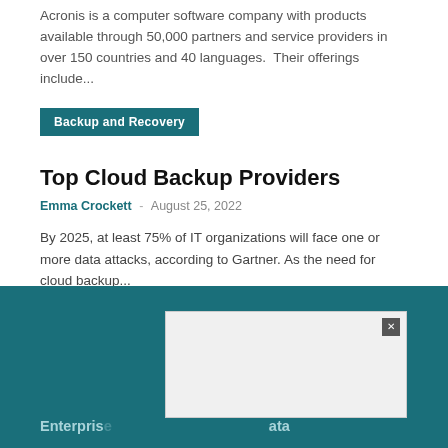Acronis is a computer software company with products available through 50,000 partners and service providers in over 150 countries and 40 languages. Their offerings include...
Backup and Recovery
Top Cloud Backup Providers
Emma Crockett - August 25, 2022
By 2025, at least 75% of IT organizations will face one or more data attacks, according to Gartner. As the need for cloud backup...
Enterprise ... data